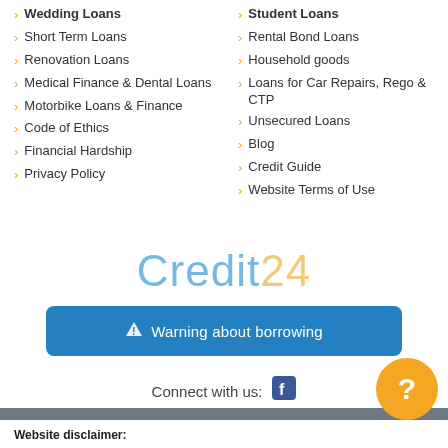Wedding Loans
Short Term Loans
Renovation Loans
Medical Finance & Dental Loans
Motorbike Loans & Finance
Code of Ethics
Financial Hardship
Privacy Policy
Student Loans
Rental Bond Loans
Household goods
Loans for Car Repairs, Rego & CTP
Unsecured Loans
Blog
Credit Guide
Website Terms of Use
[Figure (logo): Credit24 logo in light blue and orange/gold text]
[Figure (infographic): Blue button with warning triangle icon and text: Warning about borrowing]
Connect with us:
© 2022 Credit24, Australian Credit Licence number: 42283
Website disclaimer: The information on this website is of general nature and does not take into consideration your objectives, financial situation or needs.